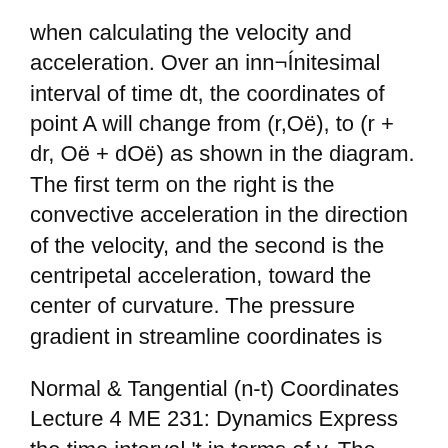when calculating the velocity and acceleration. Over an inn¬Ínitesimal interval of time dt, the coordinates of point A will change from (r,Oë), to (r + dr, Oë + dOë) as shown in the diagram. The first term on the right is the convective acceleration in the direction of the velocity, and the second is the centripetal acceleration, toward the center of curvature. The pressure gradient in streamline coordinates is
Normal & Tangential (n-t) Coordinates Lecture 4 ME 231: Dynamics Express the time interval 't in terms of v. The velocity undergoes a vector change 'v from A to B.Question of the Day A particle...